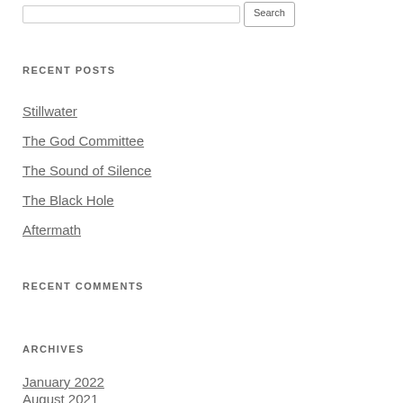RECENT POSTS
Stillwater
The God Committee
The Sound of Silence
The Black Hole
Aftermath
RECENT COMMENTS
ARCHIVES
January 2022
August 2021